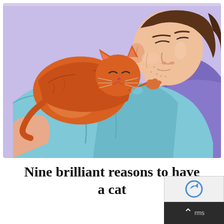[Figure (illustration): Cartoon illustration of a man lying down on a purple pillow wearing a light blue shirt, with an orange tabby cat curled up on his chest nuzzling his face. Background is light purple/lavender.]
Nine brilliant reasons to have a cat